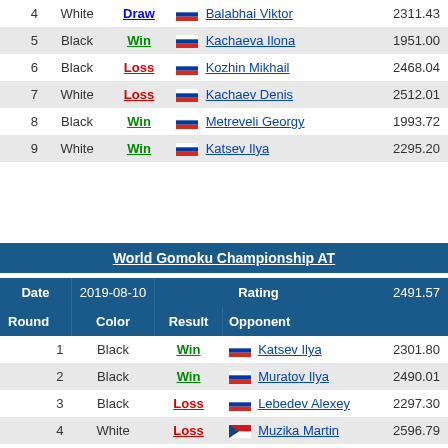| Round | Color | Result | Opponent | Rating |
| --- | --- | --- | --- | --- |
| 4 | White | Draw | Balabhai Viktor | 2311.43 |
| 5 | Black | Win | Kachaeva Ilona | 1951.00 |
| 6 | Black | Loss | Kozhin Mikhail | 2468.04 |
| 7 | White | Loss | Kachaev Denis | 2512.01 |
| 8 | Black | Win | Metreveli Georgy | 1993.72 |
| 9 | White | Win | Katsev Ilya | 2295.20 |
World Gomoku Championship AT
| Date | 2019-08-10 | Rating | 2491.57 |
| --- | --- | --- | --- |
| Round | Color | Result | Opponent |  |
| 1 | Black | Win | Katsev Ilya | 2301.80 |
| 2 | Black | Win | Muratov Ilya | 2490.01 |
| 3 | Black | Loss | Lebedev Alexey | 2297.30 |
| 4 | White | Loss | Muzika Martin | 2596.79 |